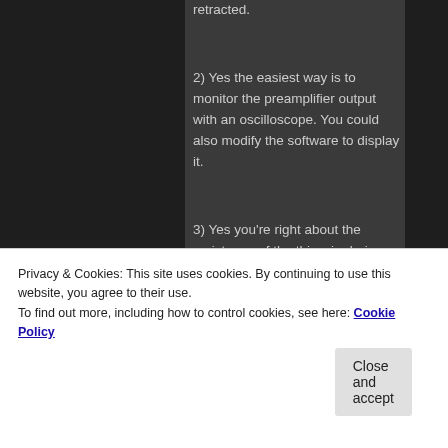retracted.
2) Yes the easiest way is to monitor the preamplifier output with an oscilloscope. You could also modify the software to display it.
3) Yes you're right about the resistance of the thin wire being very small compared to the feedback resistance of the preamplifier (the input impedance of the preamplifier is actually very low though!). The reason I used
LTC2326-16. It should be mode 2;
Privacy & Cookies: This site uses cookies. By continuing to use this website, you agree to their use.
To find out more, including how to control cookies, see here: Cookie Policy